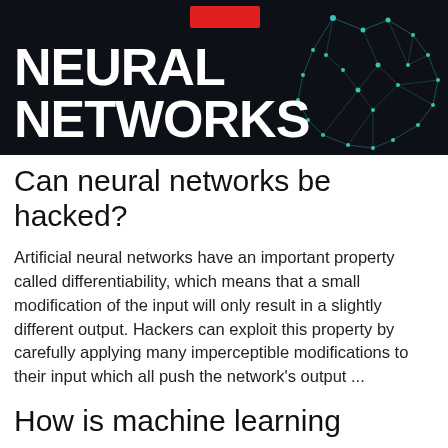[Figure (illustration): Dark navy background banner with large white bold text 'NEURAL NETWORKS' and a teal geometric network/brain diagram on the right side, with a red rectangle accent at the top center.]
Can neural networks be hacked?
Artificial neural networks have an important property called differentiability, which means that a small modification of the input will only result in a slightly different output. Hackers can exploit this property by carefully applying many imperceptible modifications to their input which all push the network's output ...
How is machine learning